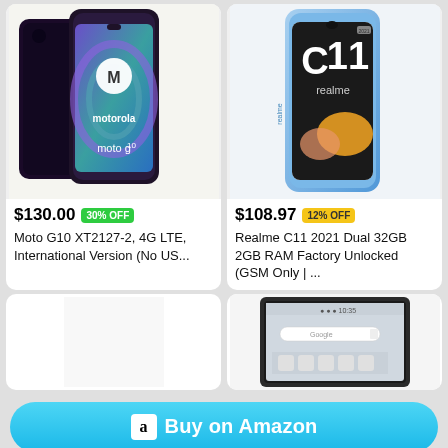[Figure (photo): Motorola Moto G10 smartphone product image showing two phones with Motorola logo and 'moto g10' branding]
$130.00 30% OFF
Moto G10 XT2127-2, 4G LTE, International Version (No US...
[Figure (photo): Realme C11 2021 smartphone product image showing phone with C11 branding and realme logo]
$108.97 12% OFF
Realme C11 2021 Dual 32GB 2GB RAM Factory Unlocked (GSM Only | ...
[Figure (photo): Empty white card placeholder]
[Figure (photo): Sony smartphone product image showing front of phone with Sony branding]
Buy on Amazon
Start Watching